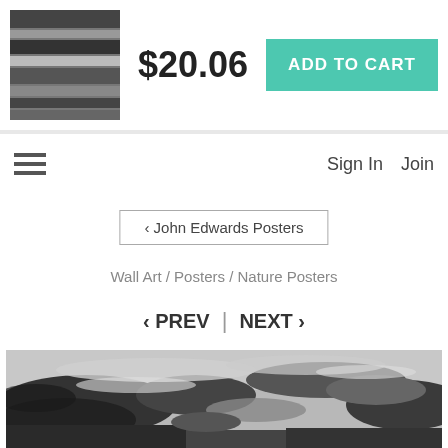[Figure (screenshot): Thumbnail of a black and white clouds/sky poster image]
$20.06
ADD TO CART
Sign In
Join
< John Edwards Posters
Wall Art / Posters / Nature Posters
< PREV  |  NEXT >
[Figure (photo): Black and white landscape photograph of dramatic cloudy sky with dark and light clouds, partial view of landscape at bottom]